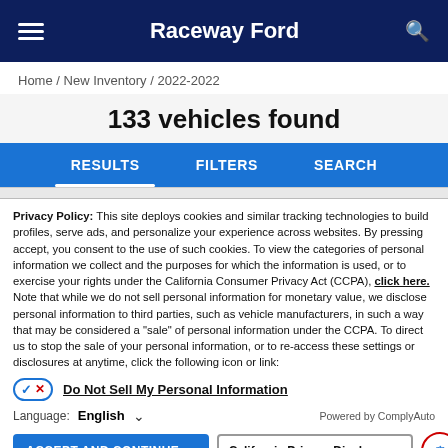Raceway Ford
Home / New Inventory / 2022-2022
133 vehicles found
RESULTS  FILTERS  SEARCH
Privacy Policy: This site deploys cookies and similar tracking technologies to build profiles, serve ads, and personalize your experience across websites. By pressing accept, you consent to the use of such cookies. To view the categories of personal information we collect and the purposes for which the information is used, or to exercise your rights under the California Consumer Privacy Act (CCPA), click here. Note that while we do not sell personal information for monetary value, we disclose personal information to third parties, such as vehicle manufacturers, in such a way that may be considered a "sale" of personal information under the CCPA. To direct us to stop the sale of your personal information, or to re-access these settings or disclosures at anytime, click the following icon or link:
Do Not Sell My Personal Information
Language: English  Powered by ComplyAuto
ACCEPT AND CONTINUE →  California Privacy Disclosures